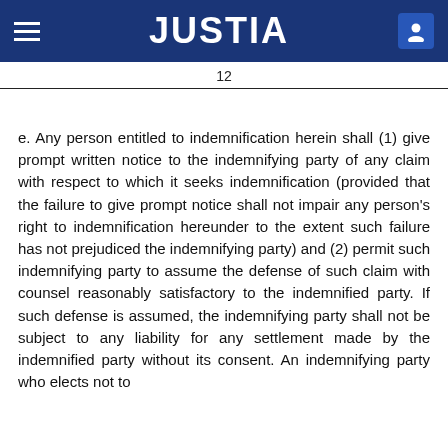JUSTIA
12
e. Any person entitled to indemnification herein shall (1) give prompt written notice to the indemnifying party of any claim with respect to which it seeks indemnification (provided that the failure to give prompt notice shall not impair any person's right to indemnification hereunder to the extent such failure has not prejudiced the indemnifying party) and (2) permit such indemnifying party to assume the defense of such claim with counsel reasonably satisfactory to the indemnified party. If such defense is assumed, the indemnifying party shall not be subject to any liability for any settlement made by the indemnified party without its consent. An indemnifying party who elects not to